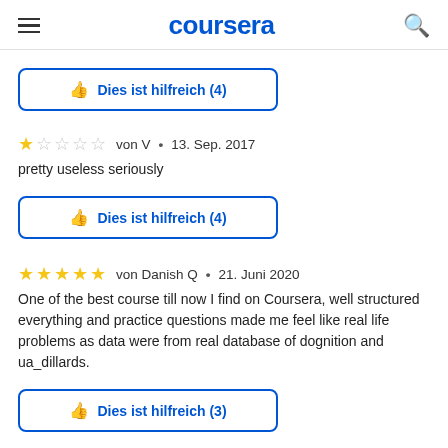coursera
[Figure (other): Helpful button: thumbs up icon with text 'Dies ist hilfreich (4)']
★☆☆☆☆  von V  •  13. Sep. 2017
pretty useless seriously
[Figure (other): Helpful button: thumbs up icon with text 'Dies ist hilfreich (4)']
★★★★★  von Danish Q  •  21. Juni 2020
One of the best course till now I find on Coursera, well structured everything and practice questions made me feel like real life problems as data were from real database of dognition and ua_dillards.
[Figure (other): Helpful button: thumbs up icon with text 'Dies ist hilfreich (3)']